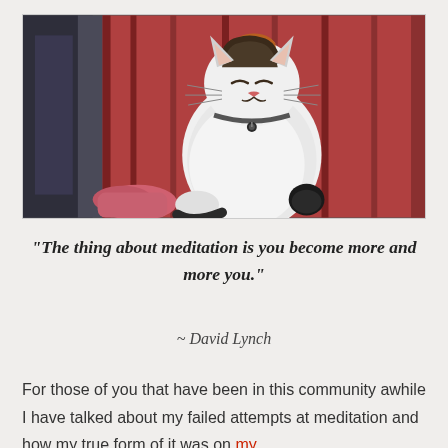[Figure (photo): A calico cat sitting calmly between red wooden slats/curtains, eyes half-closed, wearing a collar with a pendant. Background shows a dark doorway on the left and red-brown striped wood on the right. There is a pink cloth/bag visible at the bottom left.]
“The thing about meditation is you become more and more you.”
~ David Lynch
For those of you that have been in this community awhile I have talked about my failed attempts at meditation and how my true form of it was on my